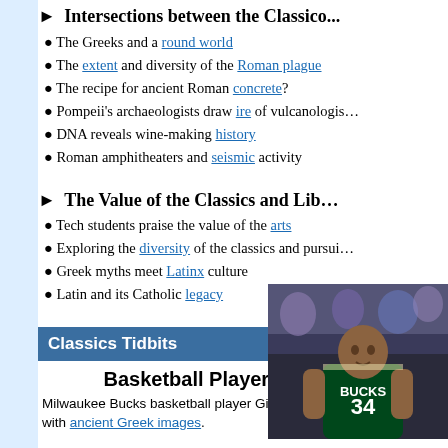► Intersections between the Classics…
The Greeks and a round world
The extent and diversity of the Roman plague
The recipe for ancient Roman concrete?
Pompeii's archaeologists draw ire of vulcanologists
DNA reveals wine-making history
Roman amphitheaters and seismic activity
► The Value of the Classics and Lib…
Tech students praise the value of the arts
Exploring the diversity of the classics and pursuing…
Greek myths meet Latinx culture
Latin and its Catholic legacy
Classics Tidbits
Basketball Player Proud of…
Milwaukee Bucks basketball player Giannis Anteto… wardrobe with ancient Greek images.
[Figure (photo): Photo of Giannis Antetokounmpo in Milwaukee Bucks jersey number 34]